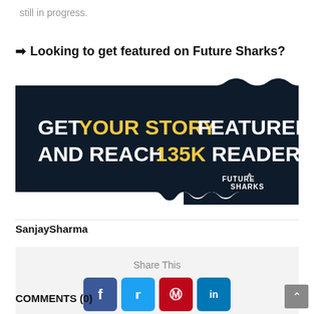still in progress.
➡ Looking to get featured on Future Sharks?
[Figure (infographic): Dark navy banner advertisement reading 'GET YOUR STORY FEATURED AND REACH 135K READERS' with Future Sharks logo. Text is white and yellow on dark background with wavy edges.]
SanjaySharma
Share This
COMMENTS (0)